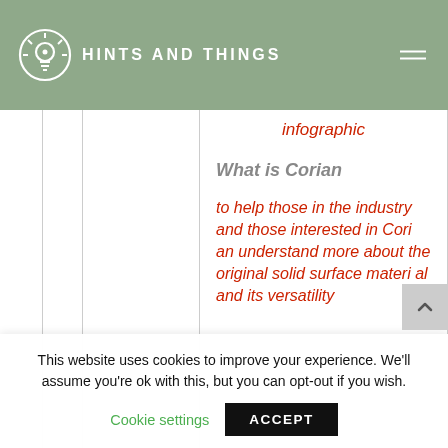HINTS AND THINGS
infographic
What is Corian
to help those in the industry and those interested in Corian understand more about the original solid surface material and its versatility
This website uses cookies to improve your experience. We'll assume you're ok with this, but you can opt-out if you wish.
Cookie settings  ACCEPT